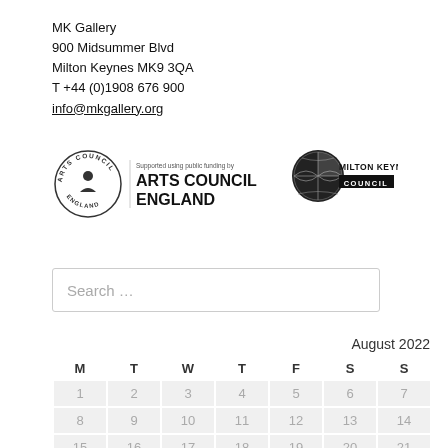MK Gallery
900 Midsummer Blvd
Milton Keynes MK9 3QA
T +44 (0)1908 676 900
info@mkgallery.org
[Figure (logo): Arts Council England logo — circular emblem with 'ARTS COUNCIL' text and 'Supported using public funding by' caption, followed by Milton Keynes Council logo]
Search …
| M | T | W | T | F | S | S |
| --- | --- | --- | --- | --- | --- | --- |
| 1 | 2 | 3 | 4 | 5 | 6 | 7 |
| 8 | 9 | 10 | 11 | 12 | 13 | 14 |
| 15 | 16 | 17 | 18 | 19 | 20 | 21 |
| 22 | 23 | 24 | 25 | 26 | 27 | 28 |